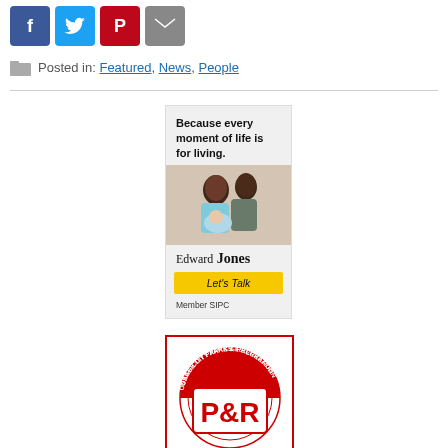[Figure (other): Social share buttons: Facebook (blue), Twitter (cyan), Pinterest (red), Email (grey)]
Posted in: Featured, News, People
[Figure (illustration): Edward Jones advertisement: 'Because every moment of life is for living.' with photo of couple holding newborn, Edward Jones logo, 'Let's Talk' button, Member SIPC]
[Figure (logo): Osage City Parks & Recreation P&R logo with red circular design]